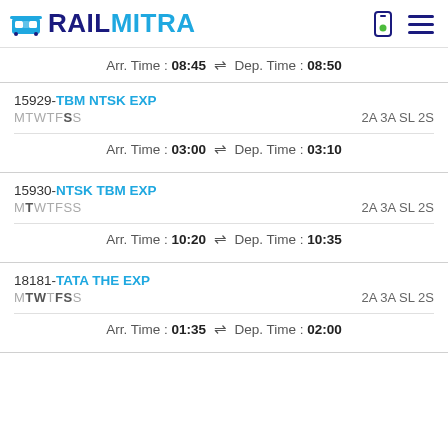RAILMITRA
Arr. Time : 08:45 ⇌ Dep. Time : 08:50
15929-TBM NTSK EXP MTWTFSS 2A 3A SL 2S
Arr. Time : 03:00 ⇌ Dep. Time : 03:10
15930-NTSK TBM EXP MTWTFSS 2A 3A SL 2S
Arr. Time : 10:20 ⇌ Dep. Time : 10:35
18181-TATA THE EXP MTWTFSS 2A 3A SL 2S
Arr. Time : 01:35 ⇌ Dep. Time : 02:00